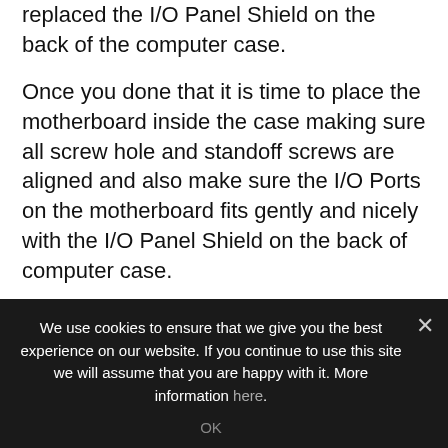replaced the I/O Panel Shield on the back of the computer case.
Once you done that it is time to place the motherboard inside the case making sure all screw hole and standoff screws are aligned and also make sure the I/O Ports on the motherboard fits gently and nicely with the I/O Panel Shield on the back of computer case.
Once you are satisfies with all alignments you need to install the screws to secure the motherboard. I normally start with the holes near the I/O Ports then the center and so on
We use cookies to ensure that we give you the best experience on our website. If you continue to use this site we will assume that you are happy with it. More information here.